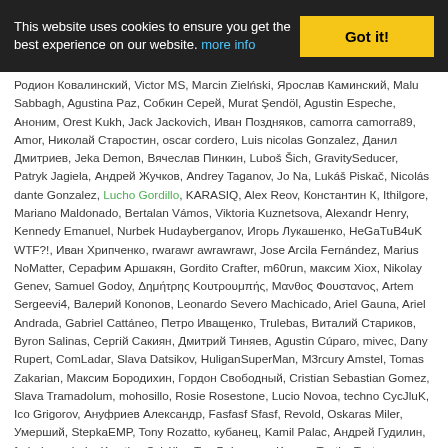This website uses cookies to ensure you get the best experience on our website. more info | Got it!
Родион Ковалинский, Victor MS, Marcin Zielński, Ярослав Каминский, Malu Sabbagh, Agustina Paz, Собкин Серей, Murat Şendöl, Agustin Espeche, Аноним, Orest Kukh, Jack Jackovich, Иван Поздняков, camorra camorra89, Amor, Николай Старостин, oscar cordero, Luis nicolas Gonzalez, Данил Дмитриев, Jeka Demon, Вячеслав Пинкин, Luboš Šich, GravitySeducer, Patryk Jagiela, Андрей Жучков, Andrey Taganov, Jo Na, Lukáš Piskač, Nicolás dante Gonzalez, Lucho Gordillo, KARASIQ, Alex Reov, Константин К, Ithilgore, Mariano Maldonado, Bertalan Vámos, Viktoria Kuznetsova, Alexandr Henry, Kennedy Emanuel, Nurbek Hudayberganov, Игорь Лукашенко, HeGaTuB4uK WTF?!, Иван Хрипченко, rwarawr awrawrawr, Jose Arcila Fernández, Marius NoMatter, Серафим Аршакян, Gordito Crafter, m60run, максим Xiox, Nikolay Genev, Samuel Godoy, Δημήτρης Κουτρουμπής, Μανθος Φουστανος, Artem Sergeevi4, Валерий Кononов, Leonardo Severo Machicado, Ariel Gauna, Ariel Andrada, Gabriel Cattáneo, Петро Иващенко, Trulebas, Виталий Стариков, Byron Salinas, Сергій Сакиян, Дмитрий Тиняев, Agustin Cúparo, mivec, Dany Rupert, ComLadar, Slava Datsikov, HuliganSuperMan, M3rcury Amstel, Tomas Zakarian, Максим Бородихин, Гордон Свободный, Cristian Sebastian Gomez, Slava Tramadolum, mohosillo, Rosie Rosestone, Lucio Novoa, techno CycJluK, Ico Grigorov, Ануфриев Александр, Fasfasf Sfasf, Revold, Oskaras Miler, Умерший, StepkaEMP, Tony Rozatto, кубанец, Kamil Palac, Андрей Гудилин, federico oviedo, Krystian Szkółka, Teo B, Lazarus Kappa, Testko Testov, Rodrigo Clavijo, Peter Patsy, Peshen Bustos, c21h30o2, setup informatica, Артур Хайбуллин, Diego Adrian, Neii Sol, Auris KitAaip, s0u1drinker, Andrea De Pasquale, Anvar Rizayev, Todor Zamyarkov, Rosita Stankute, Urfus